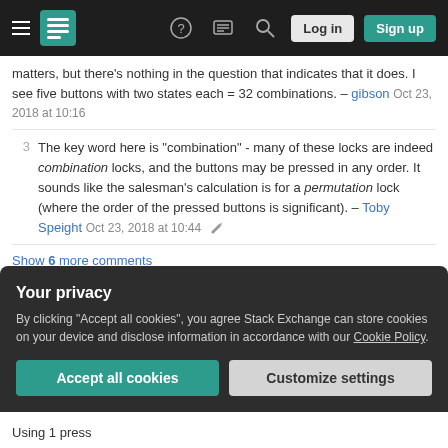[Figure (screenshot): Stack Exchange navigation bar with hamburger menu, logo, help icon, chat icon, search icon, Log in and Sign up buttons]
matters, but there's nothing in the question that indicates that it does. I see five buttons with two states each = 32 combinations. – gibson Oct 23, 2018 at 10:16
3  The key word here is "combination" - many of these locks are indeed combination locks, and the buttons may be pressed in any order. It sounds like the salesman's calculation is for a permutation lock (where the order of the pressed buttons is significant). – Toby Speight Oct 23, 2018 at 10:44
Show 6 more comments
Your privacy
By clicking "Accept all cookies", you agree Stack Exchange can store cookies on your device and disclose information in accordance with our Cookie Policy.
Using 1 press